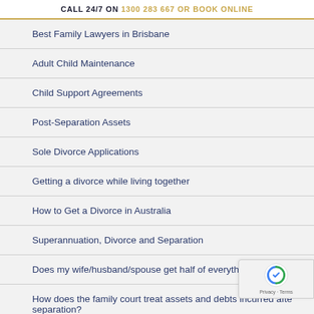CALL 24/7 ON 1300 283 667 OR BOOK ONLINE
Best Family Lawyers in Brisbane
Adult Child Maintenance
Child Support Agreements
Post-Separation Assets
Sole Divorce Applications
Getting a divorce while living together
How to Get a Divorce in Australia
Superannuation, Divorce and Separation
Does my wife/husband/spouse get half of everything?
How does the family court treat assets and debts incurred after separation?